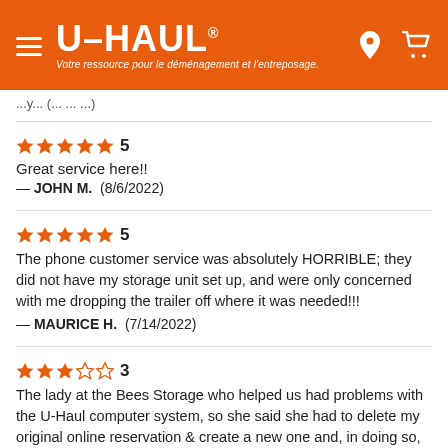[Figure (logo): U-Haul logo on orange header bar with hamburger menu icon, location pin icon, and cart icon. Tagline: Votre ressource pour le déménagement et l'entreposage.]
...y... (... ... ...)
★★★★★ 5
Great service here!!
— John M. (8/6/2022)
★★★★★ 5
The phone customer service was absolutely HORRIBLE; they did not have my storage unit set up, and were only concerned with me dropping the trailer off where it was needed!!!
— MAURICE H. (7/14/2022)
★★★☆☆ 3
The lady at the Bees Storage who helped us had problems with the U-Haul computer system, so she said she had to delete my original online reservation & create a new one and, in doing so, she charged...